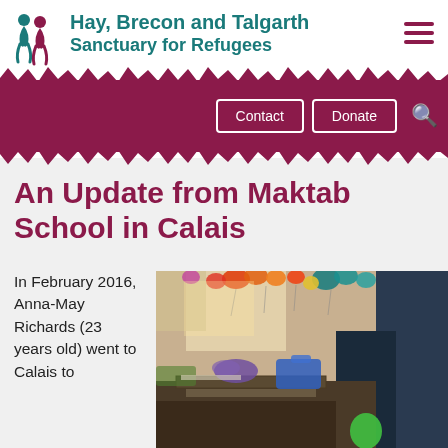Hay, Brecon and Talgarth Sanctuary for Refugees
An Update from Maktab School in Calais
In February 2016, Anna-May Richards (23 years old) went to Calais to
[Figure (photo): Interior of the Maktab School in Calais, decorated with colorful paper decorations hanging from the ceiling, with tables and chairs visible inside a tent or temporary structure.]